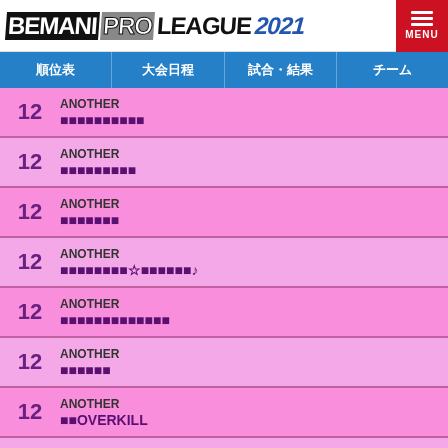BEMANI PRO LEAGUE 2021 MENU
| 順位表 | 大会日程 | 試合・結果 | チーム |
| --- | --- | --- | --- |
12 ANOTHER ■■■■■■■■■■
12 ANOTHER ■■■■■■■■■
12 ANOTHER ■■■■■■■
12 ANOTHER ■■■■■■■■☆■■■■■■♪
12 ANOTHER ■■■■■■■■■■■■■
12 ANOTHER ■■■■■■
12 ANOTHER ■■OVERKILL
12 ANOTHER ■■DIARY - L.E.D.-G STYLE MIX -
12 ANOTHER ■■■■■■
12 ANOTHER (partial)